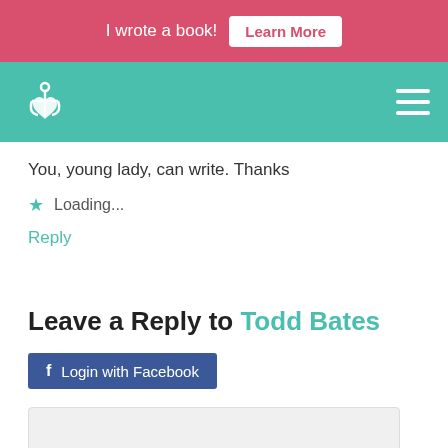I wrote a book! Learn More
[Figure (logo): Anchor heart logo on teal navigation bar with hamburger menu icon]
You, young lady, can write. Thanks
★ Loading...
Reply
Leave a Reply to Todd Bates
Login with Facebook
Name (required)